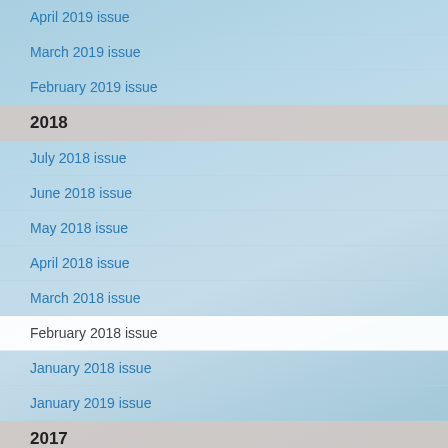April 2019 issue
March 2019 issue
February 2019 issue
2018
July 2018 issue
June 2018 issue
May 2018 issue
April 2018 issue
March 2018 issue
February 2018 issue
January 2018 issue
January 2019 issue
2017
February 2017 issue
March 2017 issue
April 2017 issue
November 2018 issue
May 2017 issue